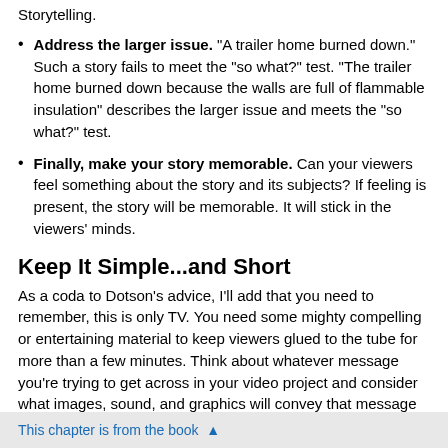Storytelling.
Address the larger issue. "A trailer home burned down." Such a story fails to meet the "so what?" test. "The trailer home burned down because the walls are full of flammable insulation" describes the larger issue and meets the "so what?" test.
Finally, make your story memorable. Can your viewers feel something about the story and its subjects? If feeling is present, the story will be memorable. It will stick in the viewers' minds.
Keep It Simple...and Short
As a coda to Dotson's advice, I'll add that you need to remember, this is only TV. You need some mighty compelling or entertaining material to keep viewers glued to the tube for more than a few minutes. Think about whatever message you're trying to get across in your video project and consider what images, sound, and graphics will convey that message in the briefest, most effective
This chapter is from the book ▲